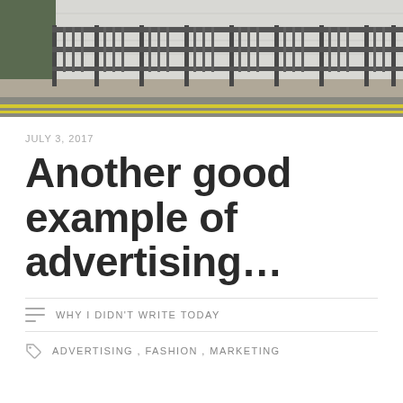[Figure (photo): Street-level photo showing a metal railing/fence along a pavement, with a tiled wall in the background and a road with yellow lines in the foreground.]
JULY 3, 2017
Another good example of advertising…
WHY I DIDN'T WRITE TODAY
ADVERTISING , FASHION , MARKETING